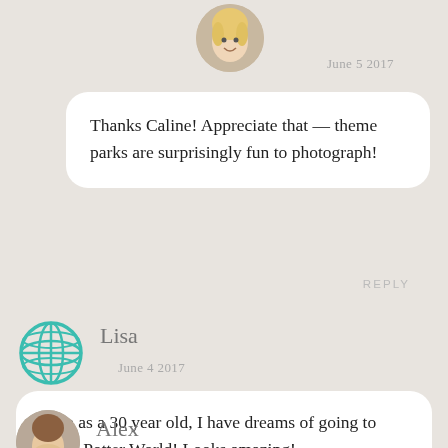[Figure (photo): Circular avatar photo of a blonde woman]
June 5 2017
Thanks Caline! Appreciate that — theme parks are surprisingly fun to photograph!
REPLY
[Figure (illustration): Teal globe/world icon]
Lisa
June 4 2017
Even as a 30 year old, I have dreams of going to Harry Potter World! Looks amazing!
REPLY
[Figure (photo): Circular avatar photo of a person named Alex]
Alex